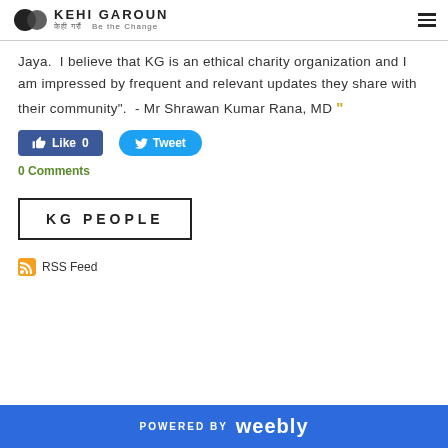KEHI GAROUN केही गरौं Be the Change
Jaya.  I believe that KG is an ethical charity organization and I am impressed by frequent and relevant updates they share with their community".  - Mr Shrawan Kumar Rana, MD "
[Figure (other): Facebook Like button (Like 0) and Twitter Tweet button]
0 Comments
KG PEOPLE
[Figure (other): RSS Feed icon with text RSS Feed]
POWERED BY weebly